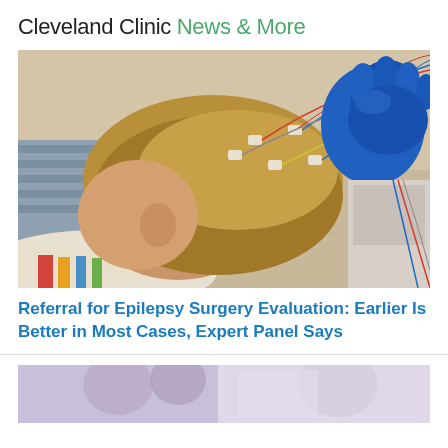Cleveland Clinic News & More
[Figure (photo): Close-up photo of a patient lying down with EEG electrodes attached to their head, with blue-gloved hands of a technician adjusting the wires.]
Referral for Epilepsy Surgery Evaluation: Earlier Is Better in Most Cases, Expert Panel Says
[Figure (photo): Partial view of a second article image at bottom of page, cropped.]